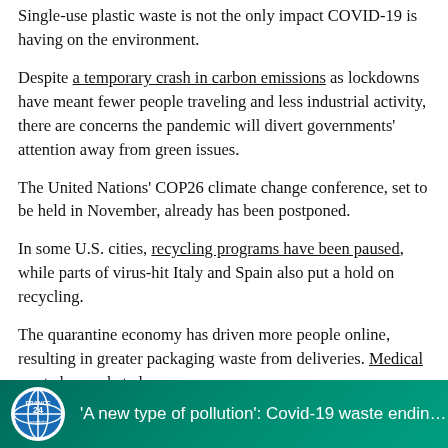Single-use plastic waste is not the only impact COVID-19 is having on the environment.
Despite a temporary crash in carbon emissions as lockdowns have meant fewer people traveling and less industrial activity, there are concerns the pandemic will divert governments' attention away from green issues.
The United Nations' COP26 climate change conference, set to be held in November, already has been postponed.
In some U.S. cities, recycling programs have been paused, while parts of virus-hit Italy and Spain also put a hold on recycling.
The quarantine economy has driven more people online, resulting in greater packaging waste from deliveries. Medical waste has rocketed.
[Figure (screenshot): France 24 English news banner with logo and text: 'A new type of pollution': Covid-19 waste ending...]